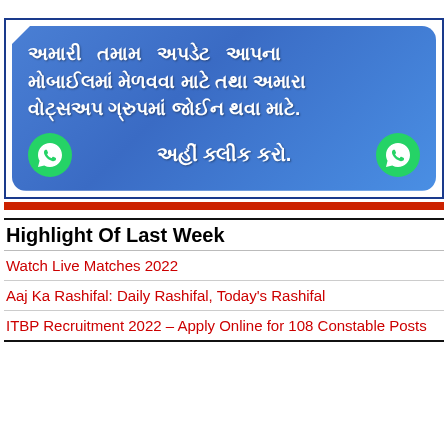[Figure (infographic): Blue banner with Gujarati text encouraging users to join WhatsApp group for updates. Text reads: અમારી તમામ અપડેટ આપના મોબાઈલમાં મેળવવા માટે તથા અમારા વોટ્સઅપ ગ્રુપમાં જોઈન થવા માટે. અહીં ક્લીક કરો. With two WhatsApp icons.]
Highlight Of Last Week
Watch Live Matches 2022
Aaj Ka Rashifal: Daily Rashifal, Today's Rashifal
ITBP Recruitment 2022 – Apply Online for 108 Constable Posts